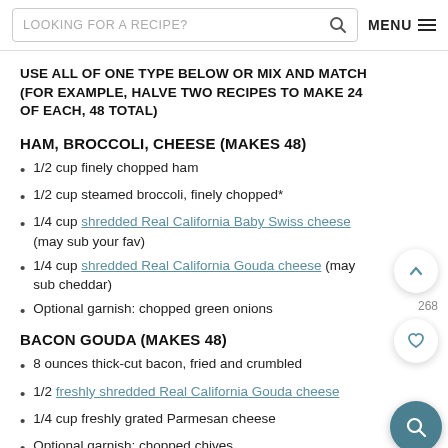LOOKING FOR A RECIPE?  MENU
USE ALL OF ONE TYPE BELOW OR MIX AND MATCH (FOR EXAMPLE, HALVE TWO RECIPES TO MAKE 24 OF EACH, 48 TOTAL)
HAM, BROCCOLI, CHEESE (MAKES 48)
1/2 cup finely chopped ham
1/2 cup steamed broccoli, finely chopped*
1/4 cup shredded Real California Baby Swiss cheese (may sub your fav)
1/4 cup shredded Real California Gouda cheese (may sub cheddar)
Optional garnish: chopped green onions
BACON GOUDA (MAKES 48)
8 ounces thick-cut bacon, fried and crumbled
1/2 freshly shredded Real California Gouda cheese
1/4 cup freshly grated Parmesan cheese
Optional garnish: chopped chives